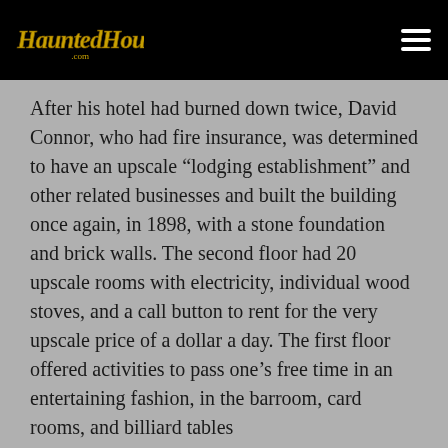HauntedHouses.com
After his hotel had burned down twice, David Connor, who had fire insurance, was determined to have an upscale “lodging establishment” and other related businesses and built the building once again, in 1898, with a stone foundation and brick walls. The second floor had 20 upscale rooms with electricity, individual wood stoves, and a call button to rent for the very upscale price of a dollar a day. The first floor offered activities to pass one’s free time in an entertaining fashion, in the barroom, card rooms, and billiard tables